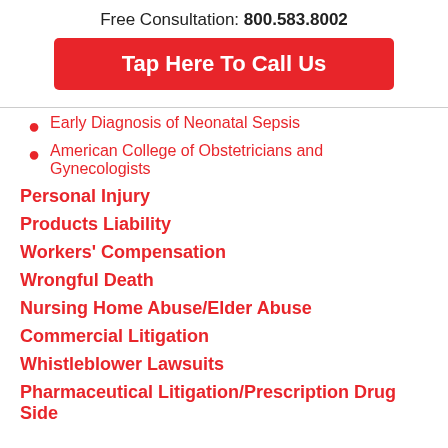Free Consultation: 800.583.8002
Tap Here To Call Us
Early Diagnosis of Neonatal Sepsis
American College of Obstetricians and Gynecologists
Personal Injury
Products Liability
Workers' Compensation
Wrongful Death
Nursing Home Abuse/Elder Abuse
Commercial Litigation
Whistleblower Lawsuits
Pharmaceutical Litigation/Prescription Drug Side Effects